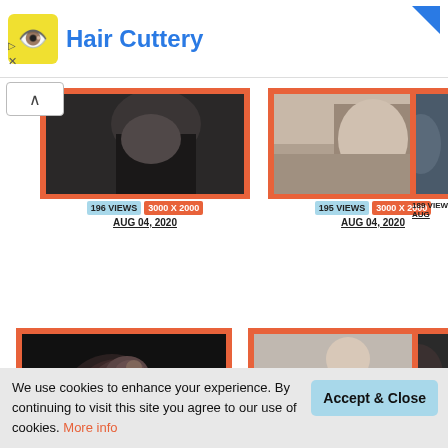[Figure (screenshot): Hair Cuttery advertisement banner with yellow icon and blue title text]
[Figure (photo): Dark fashion photo of person, top-left cropped, orange frame border. 196 VIEWS, 3000 X 2000, AUG 04, 2020]
[Figure (photo): Fashion photo with beige/neutral tones, orange frame border. 195 VIEWS, 3000 X 2000, AUG 04, 2020]
[Figure (photo): Partial photo clipped on right edge. 189 VIEWS, AUG...]
[Figure (photo): Dark portrait of young man looking upward, orange frame. 131 VIEWS, 1200 X 1500]
[Figure (photo): Young man leaning on red car door, hand to face, wearing black shirt with ring. 209 VIEWS, 2400 X 3000]
[Figure (photo): Partial photo on right edge. 197 VIEWS]
We use cookies to enhance your experience. By continuing to visit this site you agree to our use of cookies. More info
Accept & Close